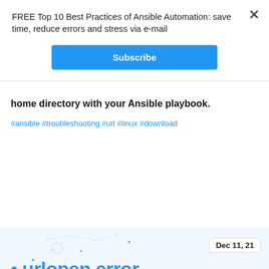FREE Top 10 Best Practices of Ansible Automation: save time, reduce errors and stress via e-mail
Subscribe
home directory with your Ansible playbook.
#ansible #troubleshooting #url #linux #download
[Figure (infographic): Card with blue background showing 'urlopen error · Ansible troubleshooting' title, date badge 'Dec 11, 21', and author Luca Berton (Ansible Pilot) with avatar photo, decorative dot network pattern in background.]